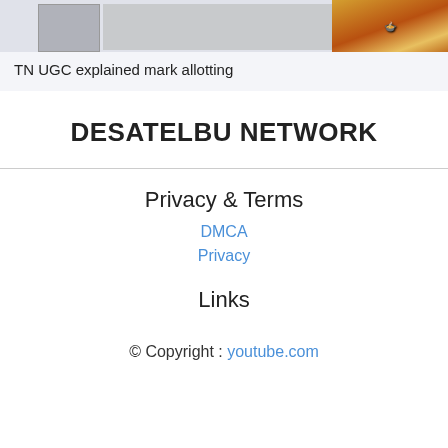[Figure (photo): Top banner with thumbnail images — a gray placeholder image on the left and a food/product image on the right]
TN UGC explained mark allotting
DESATELBU NETWORK
Privacy & Terms
DMCA
Privacy
Links
© Copyright : youtube.com